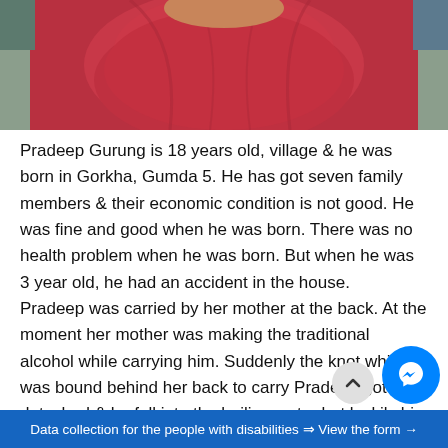[Figure (photo): Close-up photo of a person wearing a red turtleneck sweater, face not visible, shot from below chin. Background shows some blue/green out of focus.]
Pradeep Gurung is 18 years old, village & he was born in Gorkha, Gumda 5. He has got seven family members & their economic condition is not good. He was fine and good when he was born. There was no health problem when he was born. But when he was 3 year old, he had an accident in the house.
Pradeep was carried by her mother at the back. At the moment her mother was making the traditional alcohol while carrying him. Suddenly the knot which was bound behind her back to carry Pradeep got detached & he fell into the boiling water but luckily his left hand only got caught by the boiling water. His left hand was completely burned by the boiling water. His parents didn't take him to the hospital for the
Data collection for the people with disabilities ⇒ View the form →